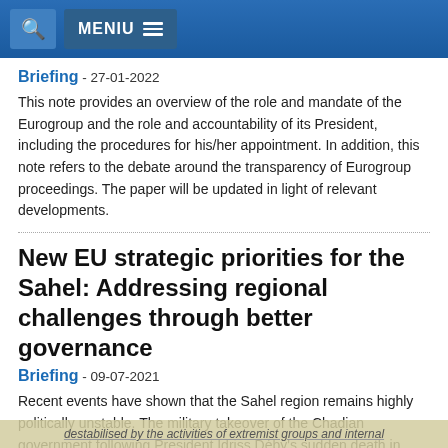MENIU
Briefing - 27-01-2022
This note provides an overview of the role and mandate of the Eurogroup and the role and accountability of its President, including the procedures for his/her appointment. In addition, this note refers to the debate around the transparency of Eurogroup proceedings. The paper will be updated in light of relevant developments.
New EU strategic priorities for the Sahel: Addressing regional challenges through better governance
Briefing - 09-07-2021
Recent events have shown that the Sahel region remains highly politically unstable. The military takeover of the Chadian government following President Idriss Déby's sudden death in April 2021 and the repercussions of the August 2020 and May 2021 military coups in Mali are worrying signs of weak democratic governance structures. Burkina Faso's transitional democracy has also been severely destabilised by the activities of extremist groups and internal